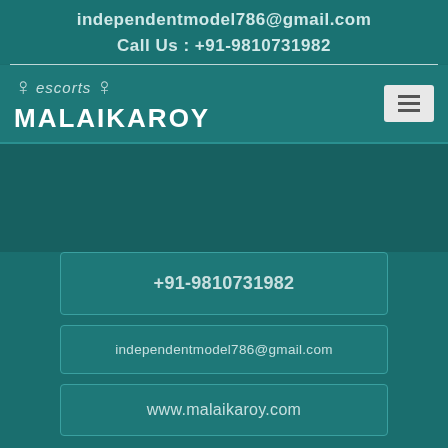independentmodel786@gmail.com
Call Us : +91-9810731982
[Figure (logo): Escorts Malaikaroy logo with silhouette figures and text MALAIKAROY]
+91-9810731982
independentmodel786@gmail.com
www.malaikaroy.com